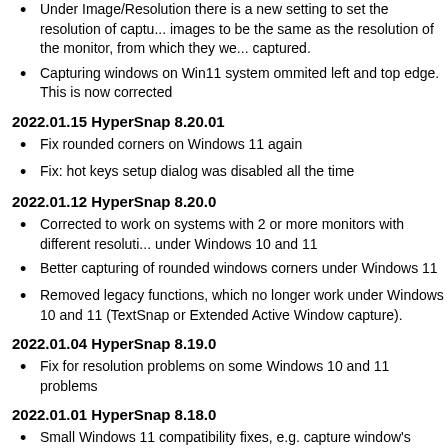Under Image/Resolution there is a new setting to set the resolution of captured images to be the same as the resolution of the monitor, from which they were captured.
Capturing windows on Win11 system ommited left and top edge. This is now corrected
2022.01.15 HyperSnap 8.20.01
Fix rounded corners on Windows 11 again
Fix: hot keys setup dialog was disabled all the time
2022.01.12 HyperSnap 8.20.0
Corrected to work on systems with 2 or more monitors with different resolutions under Windows 10 and 11
Better capturing of rounded windows corners under Windows 11
Removed legacy functions, which no longer work under Windows 10 and 11 (TextSnap or Extended Active Window capture).
2022.01.04 HyperSnap 8.19.0
Fix for resolution problems on some Windows 10 and 11 problems
2022.01.01 HyperSnap 8.18.0
Small Windows 11 compatibility fixes, e.g. capture window's rounded corners
2021.05.11 HyperSnap 8.17.0
Updated Firefox browser add-on, as due to upcoming change in Firefox the one would soon stopped working.